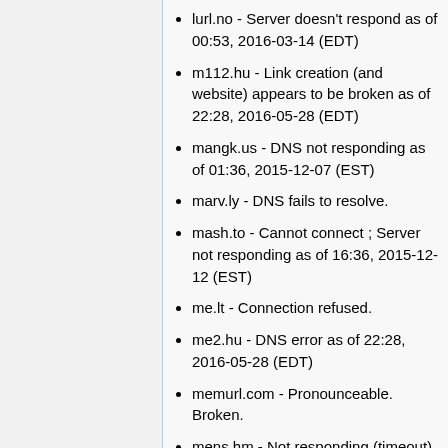lurl.no - Server doesn't respond as of 00:53, 2016-03-14 (EDT)
m112.hu - Link creation (and website) appears to be broken as of 22:28, 2016-05-28 (EDT)
mangk.us - DNS not responding as of 01:36, 2015-12-07 (EST)
marv.ly - DNS fails to resolve.
mash.to - Cannot connect ; Server not responding as of 16:36, 2015-12-12 (EST)
me.lt - Connection refused.
me2.hu - DNS error as of 22:28, 2016-05-28 (EDT)
memurl.com - Pronounceable. Broken.
mens.hm - Not responding (timeout)
micURL.com - parking page as of 01:53, 2015-12-09 (EST)